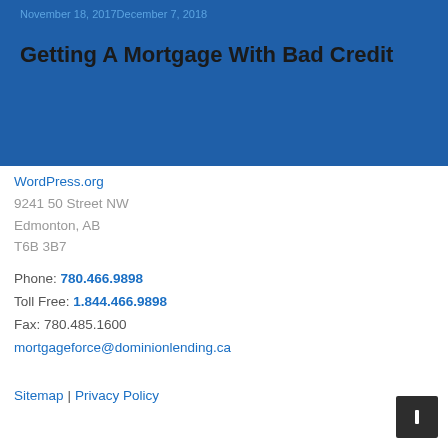November 18, 2017December 7, 2018
Getting A Mortgage With Bad Credit
WordPress.org
9241 50 Street NW
Edmonton, AB
T6B 3B7
Phone: 780.466.9898
Toll Free: 1.844.466.9898
Fax: 780.485.1600
mortgageforce@dominionlending.ca
Sitemap | Privacy Policy